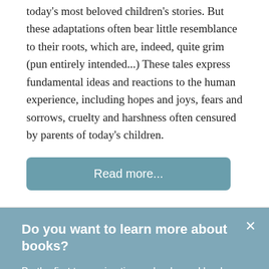today's most beloved children's stories. But these adaptations often bear little resemblance to their roots, which are, indeed, quite grim (pun entirely intended...) These tales express fundamental ideas and reactions to the human experience, including hopes and joys, fears and sorrows, cruelty and harshness often censured by parents of today's children.
Read more...
Do you want to learn more about books?
Be the first to receive tips on books and book collecting from our blog, right in your inbox. You can change your preferences or unsubscribe at any time.
Sure, I'm curious.